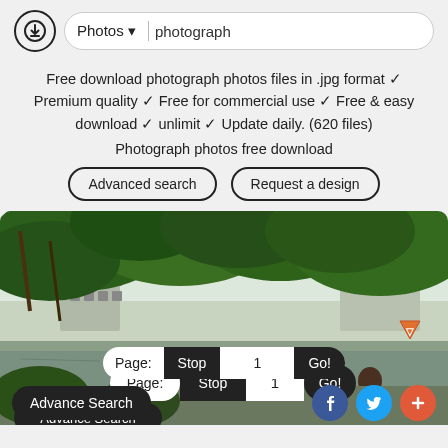[Figure (screenshot): Website header with download icon, Photos dropdown, and photograph search input]
Free download photograph photos files in .jpg format ✓ Premium quality ✓ Free for commercial use ✓ Free & easy download ✓ unlimit ✓ Update daily. (620 files)
Photograph photos free download
Advanced search    Request a design
[Figure (photo): Outdoor urban scene with dense green tree canopy in foreground, buildings and a lake or river in the background, overcast sky]
Page:  Stop  1  Go!
Advance Search